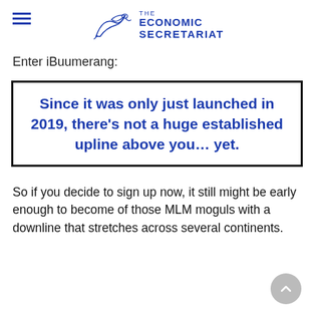THE ECONOMIC SECRETARIAT
Enter iBuumerang:
[Figure (other): Bordered quote box with blue bold text reading: Since it was only just launched in 2019, there’s not a huge established upline above you… yet.]
So if you decide to sign up now, it still might be early enough to become of those MLM moguls with a downline that stretches across several continents.